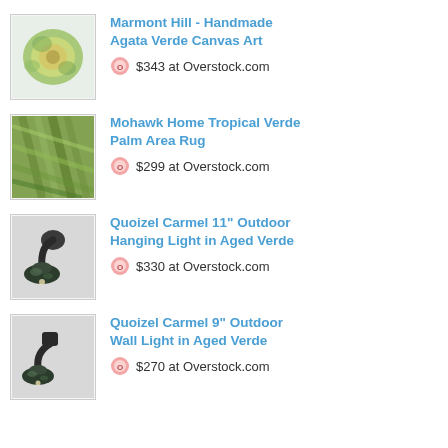[Figure (photo): Marmont Hill Agata Verde Canvas Art - green abstract swirl artwork]
Marmont Hill - Handmade Agata Verde Canvas Art
$343 at Overstock.com
[Figure (photo): Mohawk Home Tropical Verde Palm Area Rug - green palm leaf pattern]
Mohawk Home Tropical Verde Palm Area Rug
$299 at Overstock.com
[Figure (photo): Quoizel Carmel 11 inch Outdoor Hanging Light in Aged Verde - dark green patina lantern]
Quoizel Carmel 11" Outdoor Hanging Light in Aged Verde
$330 at Overstock.com
[Figure (photo): Quoizel Carmel 9 inch Outdoor Wall Light in Aged Verde - dark wall lantern]
Quoizel Carmel 9" Outdoor Wall Light in Aged Verde
$270 at Overstock.com